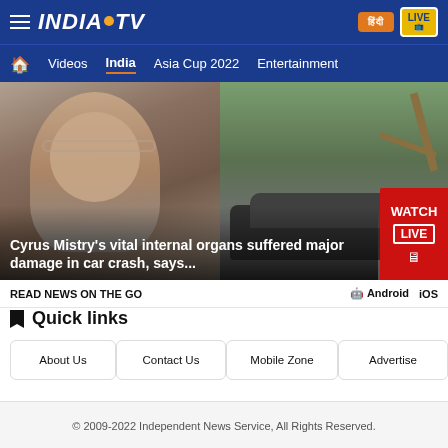INDIA TV — Videos | India | Asia Cup 2022 | Entertainment
[Figure (screenshot): News thumbnail showing Cyrus Mistry on the left and a crashed car being removed by crane on the right, with overlay text: Cyrus Mistry's vital internal organs suffered major damage in car crash, says...]
Cyrus Mistry's vital internal organs suffered major damage in car crash, says...
READ NEWS ON THE GO  Android  iOS
Quick links
About Us
Contact Us
Mobile Zone
Advertise
© 2009-2022 Independent News Service, All Rights Reserved.